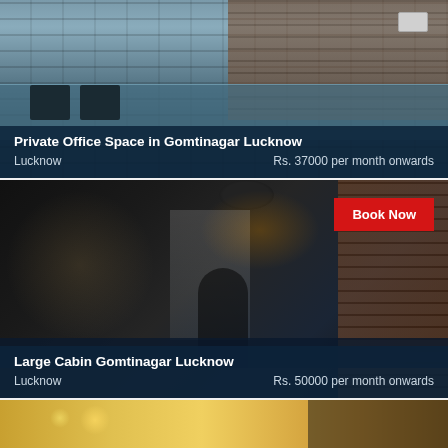[Figure (photo): Private office space with desks and chairs against a brick wall in Gomtinagar Lucknow]
Private Office Space in Gomtinagar Lucknow
Lucknow   Rs. 37000 per month onwards
[Figure (photo): Large cabin office interior with dark walls, pendant lamp, and brick wall, Gomtinagar Lucknow. Book Now button visible.]
Book Now
Large Cabin Gomtinagar Lucknow
Lucknow   Rs. 50000 per month onwards
[Figure (photo): Partial view of a third listing card showing a golden/yellow toned image, partially cut off at the bottom of the page]